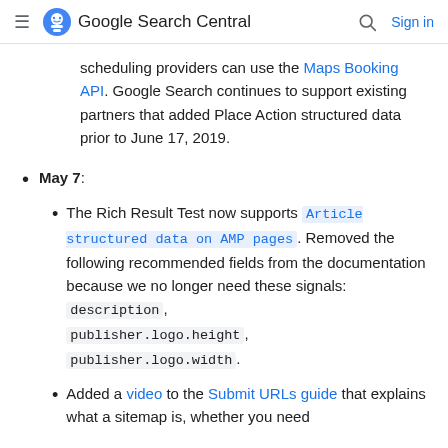Google Search Central  Sign in
scheduling providers can use the Maps Booking API. Google Search continues to support existing partners that added Place Action structured data prior to June 17, 2019.
May 7:
The Rich Result Test now supports Article structured data on AMP pages. Removed the following recommended fields from the documentation because we no longer need these signals: description, publisher.logo.height, publisher.logo.width.
Added a video to the Submit URLs guide that explains what a sitemap is, whether you need